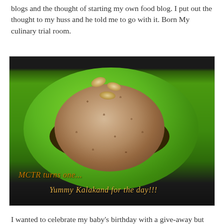blogs and the thought of starting my own food blog. I put out the thought to my huss and he told me to go with it. Born My culinary trial room.
[Figure (photo): A photo of a round food item (Kalakand/Indian sweet) coated in coarse texture, topped with nuts, served on a bright green plate with dark chocolate/tamarind sauce. Text overlays read 'MCTR turns one...' and 'Yummy Kalakand for the day!!!']
I wanted to celebrate my baby's birthday with a give-away but with the 3 months break, I didn't feel complete. However I would definitely come-up with a give-away announcement by